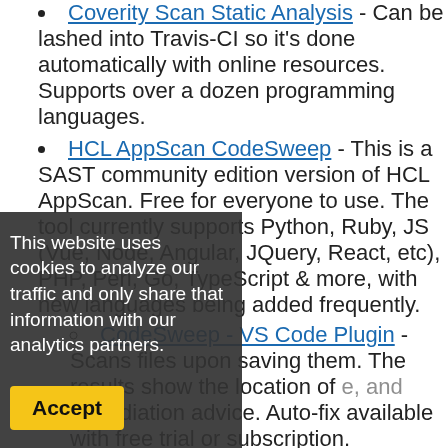Coverity Scan Static Analysis - Can be lashed into Travis-CI so it's done automatically with online resources. Supports over a dozen programming languages.
HCL AppScan CodeSweep - This is a SAST community edition version of HCL AppScan. Free for everyone to use. The tool currently supports Python, Ruby, JS (Vue, Node, Angular, JQuery, React, etc), PHP, Perl, Go, TypeScript & more, with new languages being added frequently.
CodeSweep - VS Code Plugin - Scans files upon saving them. The results show the location of the vulnerability, and remediation advice. Auto-fix available with free trial or subscription.
This website uses cookies to analyze our traffic and only share that information with our analytics partners.